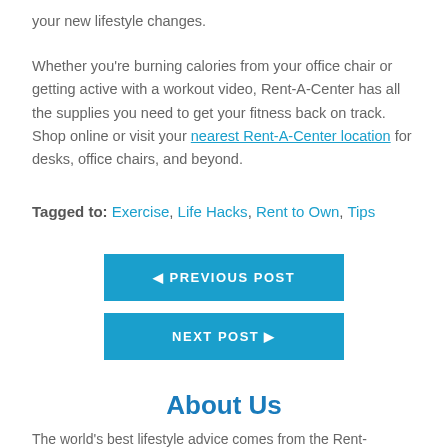your new lifestyle changes.
Whether you're burning calories from your office chair or getting active with a workout video, Rent-A-Center has all the supplies you need to get your fitness back on track. Shop online or visit your nearest Rent-A-Center location for desks, office chairs, and beyond.
Tagged to: Exercise, Life Hacks, Rent to Own, Tips
◄ PREVIOUS POST
NEXT POST ►
About Us
The world's best lifestyle advice comes from the Rent-